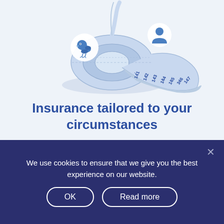[Figure (illustration): A blue measuring tape rolled up in a circle, with a small blue bird illustration and a person/user icon floating above it, on a light blue background.]
Insurance tailored to your circumstances
We use cookies to ensure that we give you the best experience on our website.
OK
Read more